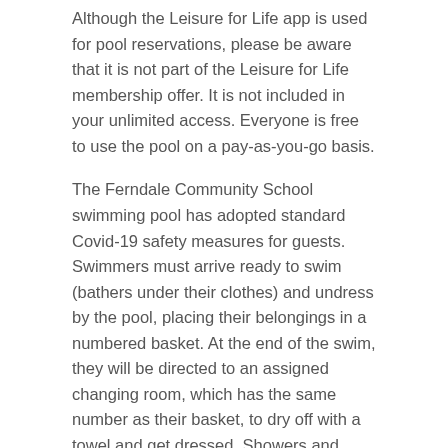Although the Leisure for Life app is used for pool reservations, please be aware that it is not part of the Leisure for Life membership offer. It is not included in your unlimited access. Everyone is free to use the pool on a pay-as-you-go basis.
The Ferndale Community School swimming pool has adopted standard Covid-19 safety measures for guests. Swimmers must arrive ready to swim (bathers under their clothes) and undress by the pool, placing their belongings in a numbered basket. At the end of the swim, they will be directed to an assigned changing room, which has the same number as their basket, to dry off with a towel and get dressed. Showers and hairdryers are not used at this time.
Related Posts:
Last year was a banner year for problem bears in...